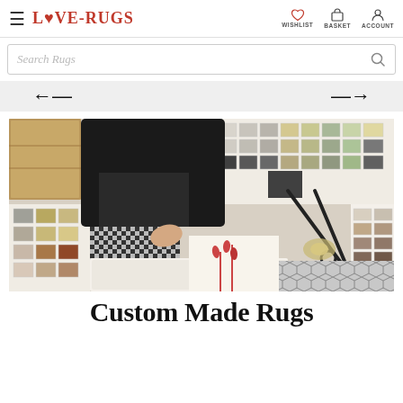LOVE-RUGS — WISHLIST  BASKET  ACCOUNT
Search Rugs
[Figure (other): Navigation arrows left and right on grey background]
[Figure (photo): Person arranging fabric and rug samples on a table with scissors and tape]
Custom Made Rugs